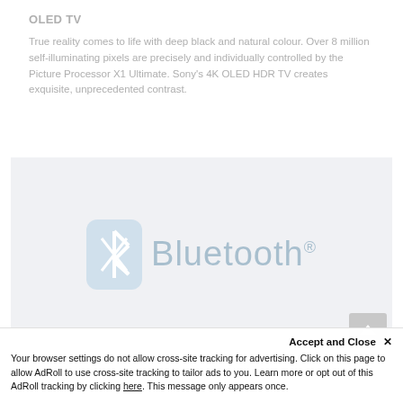OLED TV
True reality comes to life with deep black and natural colour. Over 8 million self-illuminating pixels are precisely and individually controlled by the Picture Processor X1 Ultimate. Sony's 4K OLED HDR TV creates exquisite, unprecedented contrast.
[Figure (logo): Bluetooth logo — snowflake-style B icon in a blue rounded-square badge followed by the word 'Bluetooth' with registered trademark symbol, displayed in light blue-grey color on a light grey background]
Accept and Close ✕
Your browser settings do not allow cross-site tracking for advertising. Click on this page to allow AdRoll to use cross-site tracking to tailor ads to you. Learn more or opt out of this AdRoll tracking by clicking here. This message only appears once.